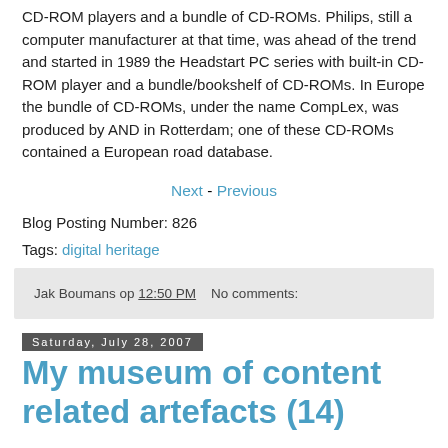CD-ROM players and a bundle of CD-ROMs. Philips, still a computer manufacturer at that time, was ahead of the trend and started in 1989 the Headstart PC series with built-in CD-ROM player and a bundle/bookshelf of CD-ROMs. In Europe the bundle of CD-ROMs, under the name CompLex, was produced by AND in Rotterdam; one of these CD-ROMs contained a European road database.
Next - Previous
Blog Posting Number: 826
Tags: digital heritage
Jak Boumans op 12:50 PM   No comments:
Saturday, July 28, 2007
My museum of content related artefacts (14)